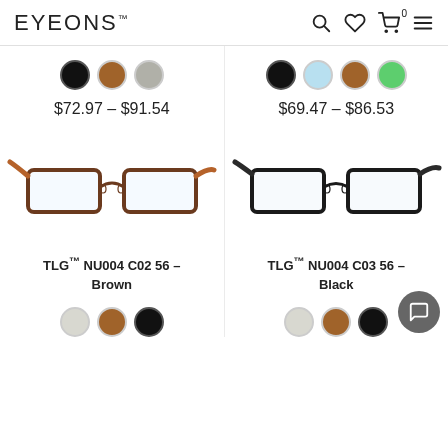EYEONS™
$72.97 – $91.54
$69.47 – $86.53
[Figure (photo): Eyeglasses frame TLG NU004 C02 56 Brown with brown/orange temple arms, metal frame]
[Figure (photo): Eyeglasses frame TLG NU004 C03 56 Black with dark/black metal frame and temples]
TLG™ NU004 C02 56 – Brown
TLG™ NU004 C03 56 – Black